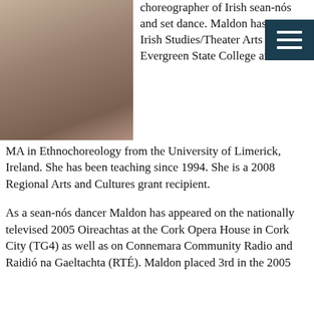[Figure (photo): Portrait photo of a woman with short dark hair, smiling, arms crossed, wearing an olive/dark green shirt and a necklace, against a textured background.]
choreographer of Irish sean-nós and set dance. Maldon has a BA in Irish Studies/Theater Arts from The Evergreen State College and a MA in Ethnochoreology from the University of Limerick, Ireland. She has been teaching since 1994. She is a 2008 Regional Arts and Cultures grant recipient.
As a sean-nós dancer Maldon has appeared on the nationally televised 2005 Oireachtas at the Cork Opera House in Cork City (TG4) as well as on Connemara Community Radio and Raidió na Gaeltachta (RTÉ). Maldon placed 3rd in the 2005